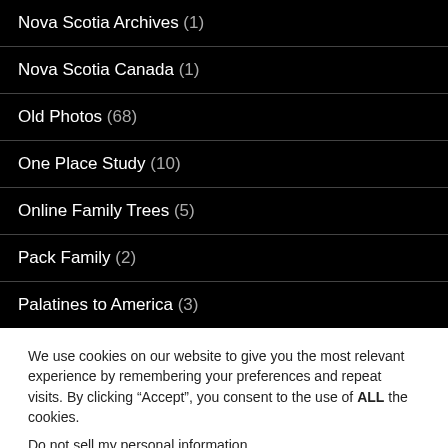Nova Scotia Archives (1)
Nova Scotia Canada (1)
Old Photos (68)
One Place Study (10)
Online Family Trees (5)
Pack Family (2)
Palatines to America (3)
We use cookies on our website to give you the most relevant experience by remembering your preferences and repeat visits. By clicking “Accept”, you consent to the use of ALL the cookies.
Do not sell my personal information.
Cookie settings  ACCEPT